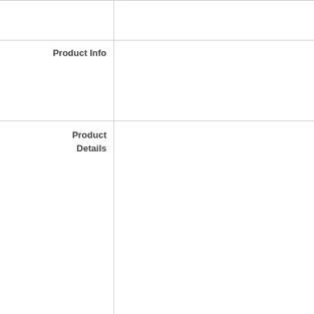|  | Category | Details |
| --- | --- | --- |
|  |  | or |
|  | Product Info | I
I

Cer
Au |
|  | Product Details | A
Ma
Ite
to s

C
Alt
Alw
De

Acc
P
The
1
C
Wh

I
Sh
Fe
the

P
Ple |